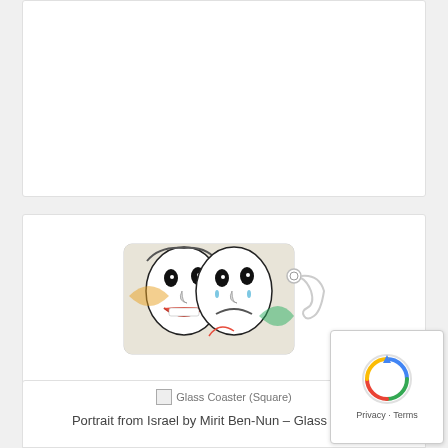[Figure (photo): Partially visible product card at top of page, white card with border, content not visible]
[Figure (photo): Luggage tag product image showing two theatrical masks (comedy and tragedy faces) with ornate colorful artwork by Mirit Ben-Nun, rectangular tag with metal loop and cord]
Portrait from Israel by Mirit Ben-Nun - Travel Luggage Tag (Fiber Reinforced Plastic)
[Figure (photo): Partially visible product card at bottom: Glass Coaster (Square) product image placeholder and beginning of title text 'Portrait from Israel by Mirit Ben-Nun - Glass Coaster']
[Figure (other): reCAPTCHA badge with spinning icon graphic and Privacy / Terms links]